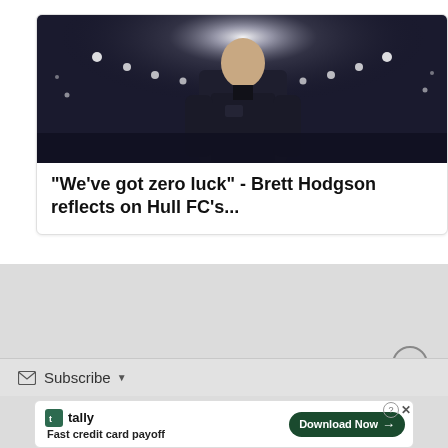[Figure (photo): A man in a dark sports jacket standing at a stadium at night, with bright floodlights in the background. The photo shows Brett Hodgson, Hull FC coach.]
"We've got zero luck" - Brett Hodgson reflects on Hull FC's...
[Figure (screenshot): Gray background section of a webpage with a subscribe bar and an advertisement banner for Tally (Fast credit card payoff) with a Download Now button.]
Subscribe
Fast credit card payoff
Download Now →